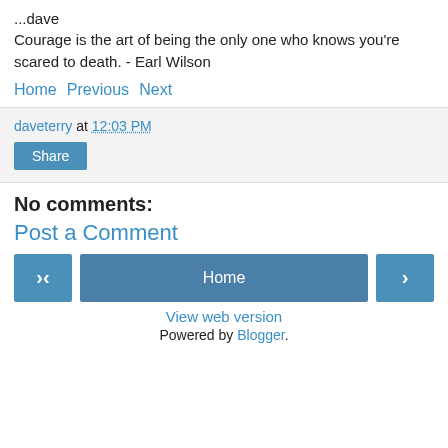...dave
Courage is the art of being the only one who knows you're scared to death. - Earl Wilson
Home Previous Next
daveterry at 12:03 PM
Share
No comments:
Post a Comment
‹  Home  ›
View web version
Powered by Blogger.